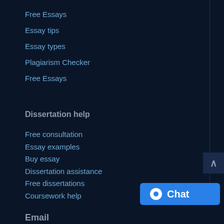Free Essays
Essay tips
Essay types
Plagiarism Checker
Free Essays
Dissertation help
Free consultation
Essay examples
Buy essay
Dissertation assistance
Free dissertations
Coursework help
[Figure (other): Chat button widget with blue background and chat icon]
Email